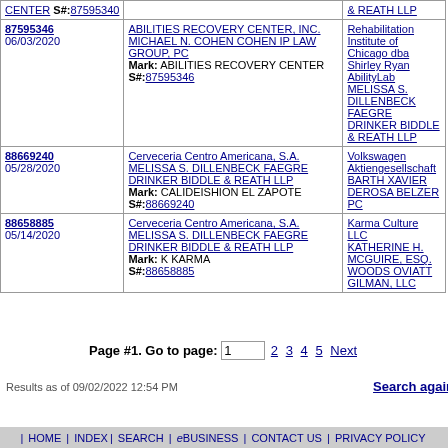| ID / Date | Applicant / Attorney / Mark | Defendant / Attorney |
| --- | --- | --- |
| 87595346
06/03/2020 | ABILITIES RECOVERY CENTER, INC.
MICHAEL N. COHEN COHEN IP LAW GROUP, PC
Mark: ABILITIES RECOVERY CENTER S#:87595346 | Rehabilitation Institute of Chicago dba Shirley Ryan AbilityLab
MELISSA S. DILLENBECK FAEGRE DRINKER BIDDLE & REATH LLP |
| 88669240
05/28/2020 | Cerveceria Centro Americana, S.A.
MELISSA S. DILLENBECK FAEGRE DRINKER BIDDLE & REATH LLP
Mark: CALIDEISHION EL ZAPOTE S#:88669240 | Volkswagen Aktiengesellschaft
BARTH XAVIER DEROSA BELZER PC |
| 88658885
05/14/2020 | Cerveceria Centro Americana, S.A.
MELISSA S. DILLENBECK FAEGRE DRINKER BIDDLE & REATH LLP
Mark: K KARMA S#:88658885 | Karma Culture LLC
KATHERINE H. MCGUIRE, ESQ. WOODS OVIATT GILMAN, LLC |
Page #1. Go to page: 1  2 3 4 5 Next
Results as of 09/02/2022 12:54 PM
| HOME | INDEX| SEARCH | eBUSINESS | CONTACT US | PRIVACY POLICY